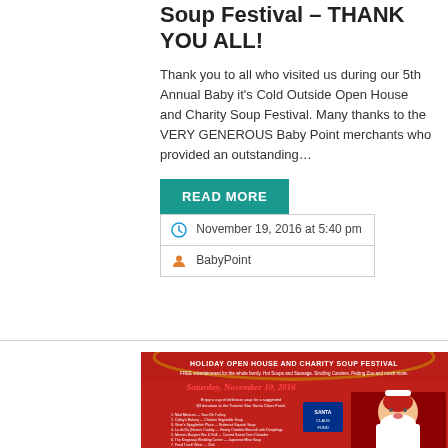Soup Festival – THANK YOU ALL!
Thank you to all who visited us during our 5th Annual Baby it's Cold Outside Open House and Charity Soup Festival. Many thanks to the VERY GENEROUS Baby Point merchants who provided an outstanding…
READ MORE
| November 19, 2016 at 5:40 pm |
| BabyPoint |
[Figure (photo): Event poster for Baby Point Holiday Open House and Charity Soup Festival on Saturday, November 19, 2016, featuring Santa Claus image and event details.]